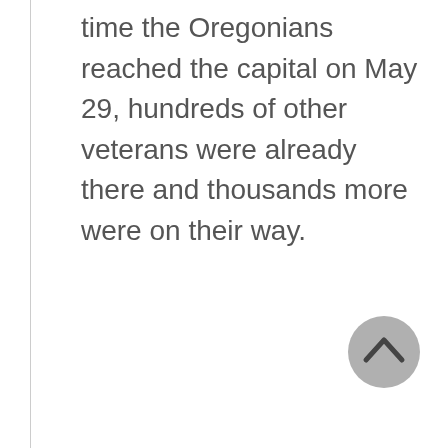time the Oregonians reached the capital on May 29, hundreds of other veterans were already there and thousands more were on their way.
[Figure (other): A circular grey scroll-to-top button with an upward-pointing chevron arrow icon]